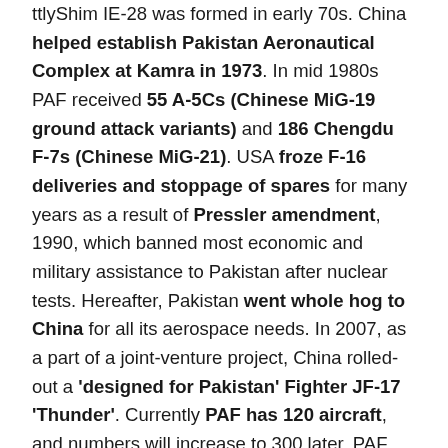ttlyShim IE-28 was formed in early 70s. China helped establish Pakistan Aeronautical Complex at Kamra in 1973. In mid 1980s PAF received 55 A-5Cs (Chinese MiG-19 ground attack variants) and 186 Chengdu F-7s (Chinese MiG-21). USA froze F-16 deliveries and stoppage of spares for many years as a result of Pressler amendment, 1990, which banned most economic and military assistance to Pakistan after nuclear tests. Hereafter, Pakistan went whole hog to China for all its aerospace needs. In 2007, as a part of a joint-venture project, China rolled-out a 'designed for Pakistan' Fighter JF-17 'Thunder'. Currently PAF has 120 aircraft, and numbers will increase to 300 later. PAF had sought 36 Chengdu J-10 'Vigorous Dragon' fighters (PAF designation FC-20). The same did not materialise. This tail-less delta wing with canards evolved from the israeli Lavi aircraft program. It is being compared by the